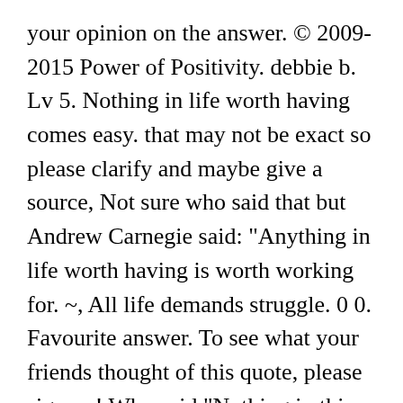your opinion on the answer. © 2009-2015 Power of Positivity. debbie b. Lv 5. Nothing in life worth having comes easy. that may not be exact so please clarify and maybe give a source, Not sure who said that but Andrew Carnegie said: "Anything in life worth having is worth working for. ~, All life demands struggle. 0 0. Favourite answer. To see what your friends thought of this quote, please sign up! Who said "Nothing in this world that's worth having comes easy"? Life is not stagnant and does not wait, so doing something now, even if it seems you're in the face of an unbeatable adversary, is still better than nothing. If you learn from it, remember that mistakes are proof that you are